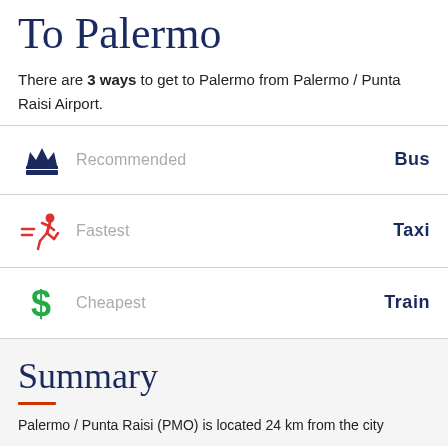To Palermo
There are 3 ways to get to Palermo from Palermo / Punta Raisi Airport.
Recommended — Bus
Fastest — Taxi
Cheapest — Train
Summary
Palermo / Punta Raisi (PMO) is located 24 km from the city